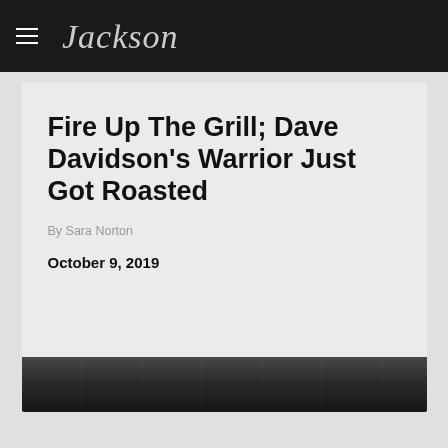Jackson
Fire Up The Grill; Dave Davidson's Warrior Just Got Roasted
By Sara Norton
October 9, 2019
[Figure (photo): Black and white photo strip at the bottom of the article card, showing a dark guitar or similar subject]